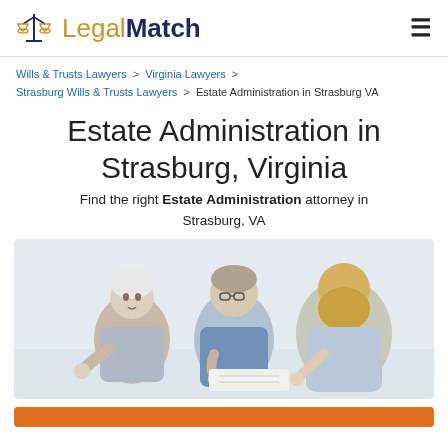LegalMatch
Wills & Trusts Lawyers > Virginia Lawyers > Strasburg Wills & Trusts Lawyers > Estate Administration in Strasburg VA
Estate Administration in Strasburg, Virginia
Find the right Estate Administration attorney in Strasburg, VA
[Figure (photo): Two elderly people sitting with a younger blonde woman, reviewing documents together in a light-colored room]
Button: Get matched with an attorney